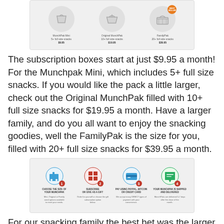[Figure (screenshot): Screenshot showing three MunchPak subscription box options: MunchPak Mini with 5+ full size snacks for $9.95, Original MunchPak with 10+ full size snacks for $19.95, and FamilyPak with 20+ full size snacks for $39.95, with a best seller badge on the FamilyPak]
The subscription boxes start at just $9.95 a month! For the Munchpak Mini, which includes 5+ full size snacks. If you would like the pack a little larger, check out the Original MunchPak filled with 10+ full size snacks for $19.95 a month. Have a larger family, and do you all want to enjoy the snacking goodies, well the FamilyPak is the size for you, filled with 20+ full size snacks for $39.95 a month.
[Figure (infographic): Four-step process infographic showing how MunchPak works: 1. Choose the size of your MunchPak, 2. Subscribe or give as a gift, 3. Pay using PayPal, Bitcoin or credit card, 4. Your MunchPak is shipped and delivered]
For our snacking family the best bet was the larger FamilyPak. Here is a peek at what a sample FamilyPak may look like, each month is different, so you never know what may be in your pack. As soon as the pack arrived my family could not wait to dig in, the box was stuffed full, of amazing